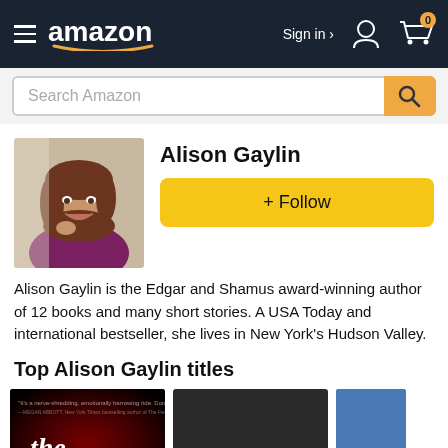amazon  Sign in  0
Search Amazon
[Figure (photo): Headshot of Alison Gaylin, a woman with brown hair, smiling, resting chin on hand, wearing a purple top]
Alison Gaylin
+ Follow
Alison Gaylin is the Edgar and Shamus award-winning author of 12 books and many short stories. A USA Today and international bestseller, she lives in New York's Hudson Valley.
Top Alison Gaylin titles
[Figure (photo): Book cover: 'the collective' by Alison Gaylin, dark red background]
[Figure (photo): Book cover placeholder: UNTITLED SUNNY RANDALL 11, dark grey background]
[Figure (photo): Book cover partially visible: FAINT C..., blue background]